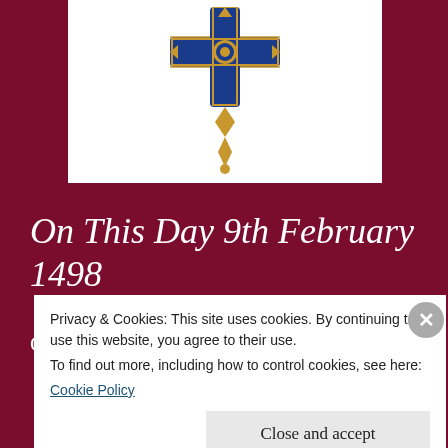[Figure (photo): White rectangular box containing a decorative royal/heraldic emblem or badge with blue and gold details on a white background]
On This Day 9th February 1498
On 9th February 1498 of John, Viscount
Privacy & Cookies: This site uses cookies. By continuing to use this website, you agree to their use.
To find out more, including how to control cookies, see here: Cookie Policy
Close and accept